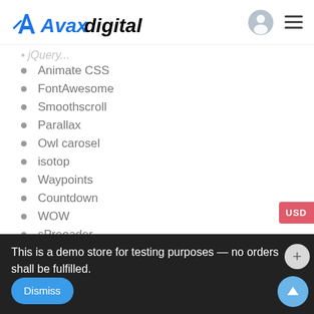Avaxdigital
Animate CSS
FontAwesome
Smoothscroll
Parallax
Owl carosel
isotop
Waypoints
Countdown
WOW
sPreoader
Note: Images are not included with the
This is a demo store for testing purposes — no orders shall be fulfilled.